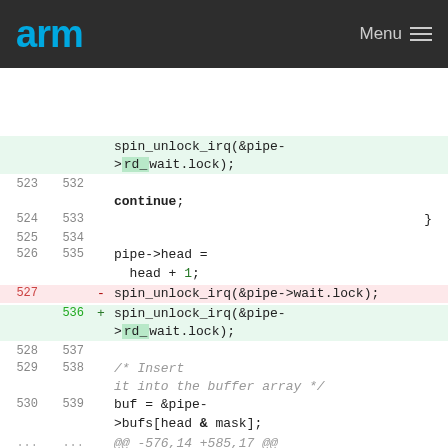arm  Menu
[Figure (screenshot): Code diff view showing kernel pipe code changes. Lines 523-530 (old) and 532-539 (new) are shown. A removed line (527) calls spin_unlock_irq(&pipe->wait.lock); and it is replaced (536) with spin_unlock_irq(&pipe->rd_wait.lock);. Also shows continue; closing brace, pipe->head = head + 1; and buf = &pipe->bufs[head & mask]; and a diff hunk header @@ -576,14 +585,17 @@ pipe_write(struct kiocb *iocb,]